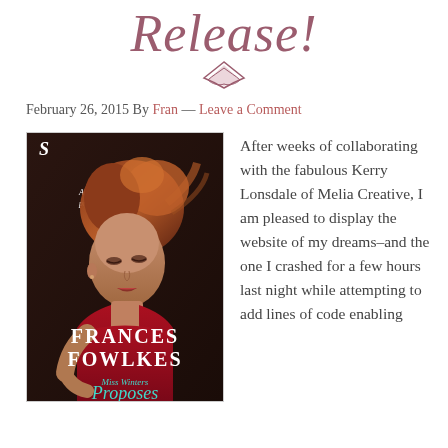Release!
February 26, 2015 By Fran — Leave a Comment
[Figure (illustration): Book cover for 'Miss Winters Proposes' by Frances Fowlkes, showing a woman with auburn upswept hair in a red dress, on a dark background. Text: 'An unseemly proposal...' at the top, and 'Miss Winters Proposes' at the bottom in teal script.]
After weeks of collaborating with the fabulous Kerry Lonsdale of Melia Creative, I am pleased to display the website of my dreams–and the one I crashed for a few hours last night while attempting to add lines of code enabling